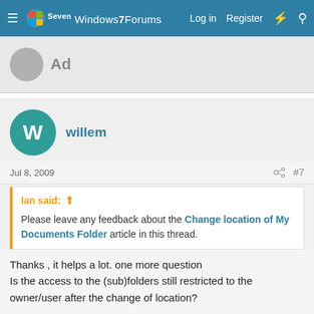Windows 7 Forums — Log in  Register
[Figure (screenshot): Ad placeholder area with gray avatar icon labeled 'Ad']
willem
Jul 8, 2009  #7
Ian said: ↑
Please leave any feedback about the Change location of My Documents Folder article in this thread.
Thanks , it helps a lot. one more question
Is the access to the (sub)folders still restricted to the owner/user after the change of location?

Willem